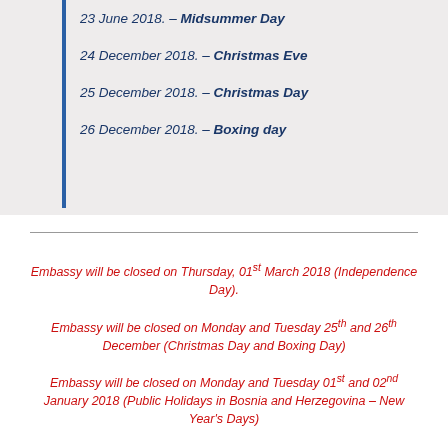23 June 2018. – Midsummer Day
24 December 2018. – Christmas Eve
25 December 2018. – Christmas Day
26 December 2018. – Boxing day
Embassy will be closed on Thursday, 01st March 2018 (Independence Day).
Embassy will be closed on Monday and Tuesday 25th and 26th December (Christmas Day and Boxing Day)
Embassy will be closed on Monday and Tuesday 01st and 02nd January 2018 (Public Holidays in Bosnia and Herzegovina – New Year's Days)